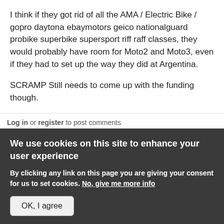I think if they got rid of all the AMA / Electric Bike / gopro daytona ebaymotors geico nationalguard probike superbike supersport riff raff classes, they would probably have room for Moto2 and Moto3, even if they had to set up the way they did at Argentina.

SCRAMP Still needs to come up with the funding though.
Log in or register to post comments
Just for the record
zlive replied on Tue, 2015-03-17 14:28
We use cookies on this site to enhance your user experience
By clicking any link on this page you are giving your consent for us to set cookies. No, give me more info
OK, I agree